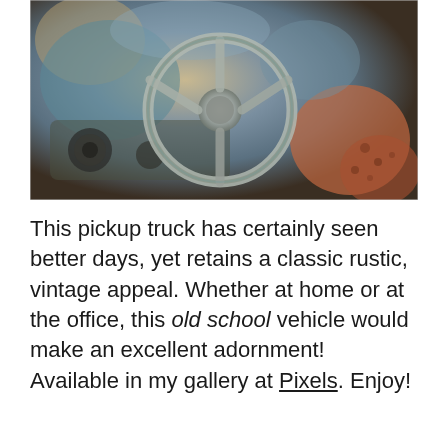[Figure (photo): Close-up photo of the interior dashboard and steering wheel of a rusted, weathered vintage pickup truck. The steering wheel is large and silver-toned, surrounded by aged, peeling, multicolored surfaces in teal, brown, cream, and rust tones.]
This pickup truck has certainly seen better days, yet retains a classic rustic, vintage appeal. Whether at home or at the office, this old school vehicle would make an excellent adornment! Available in my gallery at Pixels. Enjoy!